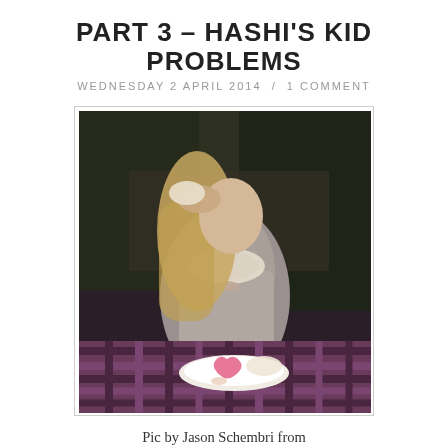PART 3 – HASHI'S KID PROBLEMS
WEDNESDAY 2 APRIL 2014  /  1 COMMENT
[Figure (photo): A young woman wearing a grey sleeveless dress with a pearl necklace and ribbon bow, eating a piece of cake with her hand, leaning over a table with a purple gingham tablecloth, with a pink heart-shaped cake on a white plate in front of her, outdoors with green foliage behind her.]
Pic by Jason Schembri from
www.sarahwilson.com.au